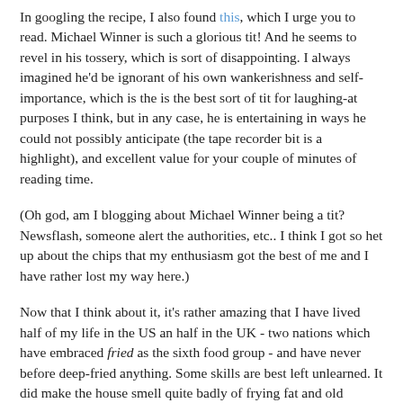In googling the recipe, I also found this, which I urge you to read. Michael Winner is such a glorious tit! And he seems to revel in his tossery, which is sort of disappointing. I always imagined he'd be ignorant of his own wankerishness and self-importance, which is the is the best sort of tit for laughing-at purposes I think, but in any case, he is entertaining in ways he could not possibly anticipate (the tape recorder bit is a highlight), and excellent value for your couple of minutes of reading time.
(Oh god, am I blogging about Michael Winner being a tit? Newsflash, someone alert the authorities, etc.. I think I got so het up about the chips that my enthusiasm got the best of me and I have rather lost my way here.)
Now that I think about it, it's rather amazing that I have lived half of my life in the US an half in the UK - two nations which have embraced fried as the sixth food group - and have never before deep-fried anything. Some skills are best left unlearned. It did make the house smell quite badly of frying fat and old people* for a day or two so I don't plan to do it